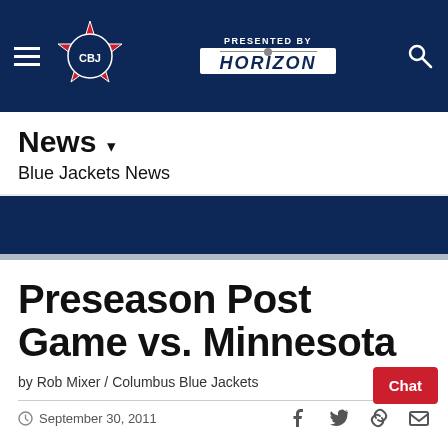[Figure (logo): Columbus Blue Jackets website header with navigation hamburger menu, team logo, Horizon sponsor logo, and search icon on dark navy background]
News ▾
Blue Jackets News
Preseason Post Game vs. Minnesota
by Rob Mixer / Columbus Blue Jackets
September 30, 2011